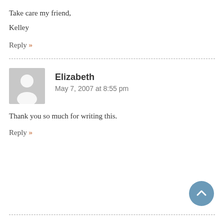Take care my friend,
Kelley
Reply »
Elizabeth
May 7, 2007 at 8:55 pm
Thank you so much for writing this.
Reply »